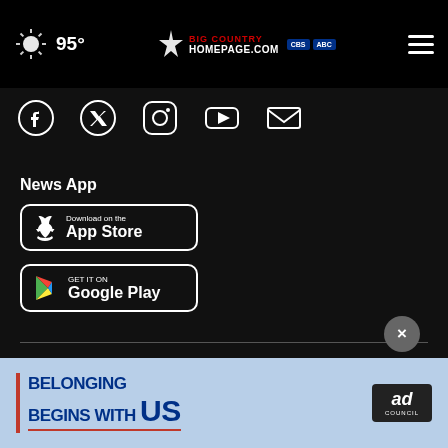95° Big Country Homepage CBS ABC
[Figure (screenshot): Social media icons: Facebook, Twitter, Instagram, YouTube, Email]
News App
[Figure (other): Download on the App Store button]
[Figure (other): Get it on Google Play button]
Meet the Team
Local Events
Interactive Radar
Work For Us
[Figure (infographic): Ad banner: BELONGING BEGINS WITH US - Ad Council]